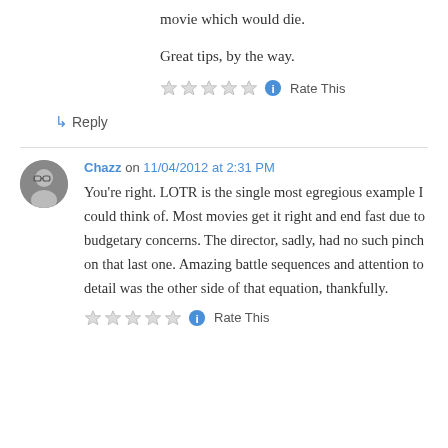movie which would die.
Great tips, by the way.
Rate This
↳ Reply
Chazz on 11/04/2012 at 2:31 PM
You’re right. LOTR is the single most egregious example I could think of. Most movies get it right and end fast due to budgetary concerns. The director, sadly, had no such pinch on that last one. Amazing battle sequences and attention to detail was the other side of that equation, thankfully.
Rate This